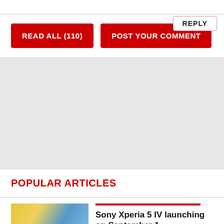REPLY
READ ALL (110)
POST YOUR COMMENT
[Figure (other): Gray advertisement/placeholder area]
POPULAR ARTICLES
[Figure (photo): Photo of a person in yellow clothing with blue background, related to Sony Xperia 5 IV article]
Sony Xperia 5 IV launching on September 1